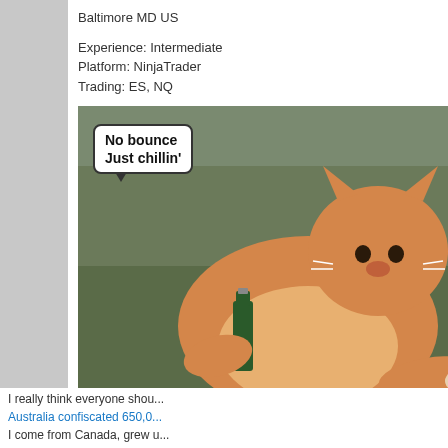Baltimore MD US
Experience: Intermediate
Platform: NinjaTrader
Trading: ES, NQ
[Figure (photo): A fat orange cat sitting on a couch holding a beer bottle, with a speech bubble saying 'No bounce Just chillin'']
Posts: 293 since Apr 2013
Thanks: 1,514 given, 733 received
[Figure (other): Video blocked notice with exclamation mark circle icon and partial text 'Vi...' 'Th... blo...']
I really think everyone shou...
Australia confiscated 650,0...
I come from Canada, grew u...
I have gone on multi week h...
There is a number of things... close to the top.